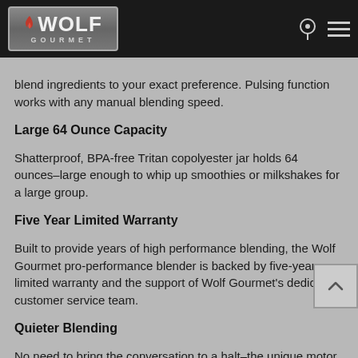[Figure (logo): Wolf Gourmet logo in a grey rounded rectangle on black navigation bar]
blend ingredients to your exact preference. Pulsing function works with any manual blending speed.
Large 64 Ounce Capacity
Shatterproof, BPA-free Tritan copolyester jar holds 64 ounces–large enough to whip up smoothies or milkshakes for a large group.
Five Year Limited Warranty
Built to provide years of high performance blending, the Wolf Gourmet pro-performance blender is backed by five-year limited warranty and the support of Wolf Gourmet's dedicated customer service team.
Quieter Blending
No need to bring the conversation to a halt–the unique motor design helps dampen harsh noise during blending.